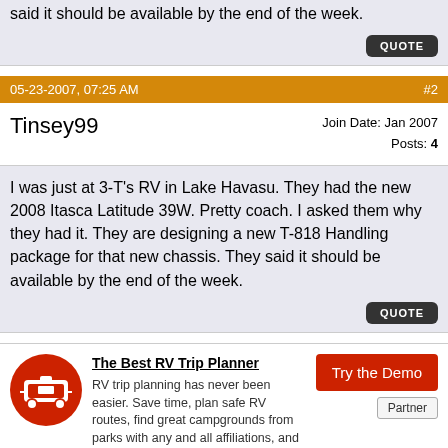said it should be available by the end of the week.
QUOTE
05-23-2007, 07:25 AM  #2
Tinsey99
Join Date: Jan 2007
Posts: 4
I was just at 3-T's RV in Lake Havasu. They had the new 2008 Itasca Latitude 39W. Pretty coach. I asked them why they had it. They are designing a new T-818 Handling package for that new chassis. They said it should be available by the end of the week.
QUOTE
[Figure (infographic): RV trip planner advertisement with red bus icon, title 'The Best RV Trip Planner', description text, a red 'Try the Demo' button, and a 'Partner' label.]
05-23-2007, 07:48 AM  #3
Join Date: Sep 2004